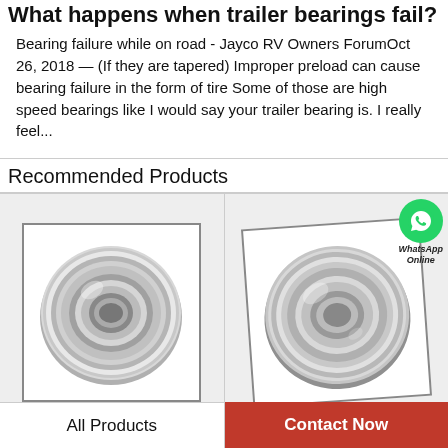What happens when trailer bearings fail?
Bearing failure while on road - Jayco RV Owners ForumOct 26, 2018 — (If they are tapered) Improper preload can cause bearing failure in the form of tire Some of those are high speed bearings like I would say your trailer bearing is. I really feel...
Recommended Products
[Figure (photo): Photo of a steel ball bearing (small, shielded) on white background, inside a bordered frame]
[Figure (photo): Photo of a larger steel ball bearing (shielded) on white background, inside a tilted bordered frame, with WhatsApp Online overlay]
All Products
Contact Now